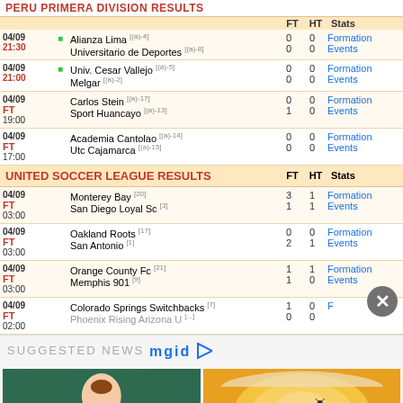PERU PRIMERA DIVISION RESULTS
| Date/Time | Teams | FT | HT | Stats |
| --- | --- | --- | --- | --- |
| 04/09 21:30 | Alianza Lima [(a)-4] / Universitario de Deportes [(a)-8] | 0 0 | 0 0 | Formation Events |
| 04/09 21:00 | Univ. Cesar Vallejo [(a)-5] / Melgar [(a)-2] | 0 0 | 0 0 | Formation Events |
| 04/09 19:00 FT | Carlos Stein [(a)-17] / Sport Huancayo [(a)-13] | 0 1 | 0 0 | Formation Events |
| 04/09 17:00 FT | Academia Cantolao [(a)-14] / Utc Cajamarca [(a)-15] | 0 0 | 0 0 | Formation Events |
UNITED SOCCER LEAGUE RESULTS
| Date/Time | Teams | FT | HT | Stats |
| --- | --- | --- | --- | --- |
| 04/09 03:00 FT | Monterey Bay [20] / San Diego Loyal Sc [3] | 3 1 | 1 1 | Formation Events |
| 04/09 03:00 FT | Oakland Roots [17] / San Antonio [1] | 0 2 | 0 1 | Formation Events |
| 04/09 03:00 FT | Orange County Fc [21] / Memphis 901 [9] | 1 1 | 1 0 | Formation Events |
| 04/09 02:00 FT | Colorado Springs Switchbacks [7] / Phoenix Rising Arizona U [...] | 1 0 | 0 0 | F... |
SUGGESTED NEWS
[Figure (logo): mgid logo with play button triangle]
[Figure (photo): Jennifer Lopez in green Versace dress]
This Is How Jennifer Lopez Keeps Her Body In Peak Condition
[Figure (photo): Close-up of an egg yolk, possibly raw egg]
Can You Eat Expired Eggs? Food Safety Experts Weigh In